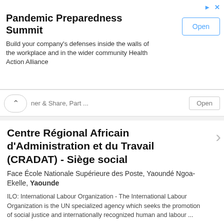[Figure (screenshot): Ad banner for Pandemic Preparedness Summit with Open button]
Pandemic Preparedness Summit
Build your company's defenses inside the walls of the workplace and in the wider community Health Action Alliance
ner & Share, Part ... Open
Centre Régional Africain d'Administration et du Travail (CRADAT) - Siège social
Face École Nationale Supérieure des Poste, Yaoundé Ngoa-Ekelle, Yaounde
ILO: International Labour Organization - The International Labour Organization is the UN specialized agency which seeks the promotion of social justice and internationally recognized human and labour ...
Phone  E-mail  Website
Global Health System Solutions (GHSS)